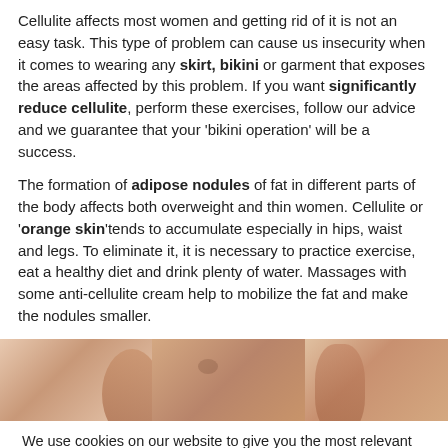Cellulite affects most women and getting rid of it is not an easy task. This type of problem can cause us insecurity when it comes to wearing any skirt, bikini or garment that exposes the areas affected by this problem. If you want significantly reduce cellulite, perform these exercises, follow our advice and we guarantee that your 'bikini operation' will be a success.
The formation of adipose nodules of fat in different parts of the body affects both overweight and thin women. Cellulite or 'orange skin'tends to accumulate especially in hips, waist and legs. To eliminate it, it is necessary to practice exercise, eat a healthy diet and drink plenty of water. Massages with some anti-cellulite cream help to mobilize the fat and make the nodules smaller.
[Figure (photo): Three side-by-side images showing skin areas (thigh/leg regions) illustrating cellulite, with warm skin tones]
We use cookies on our website to give you the most relevant experience by remembering your preferences and repeat visits. By clicking “Accept”, you consent to the use of ALL the cookies.
Do not sell my personal information.